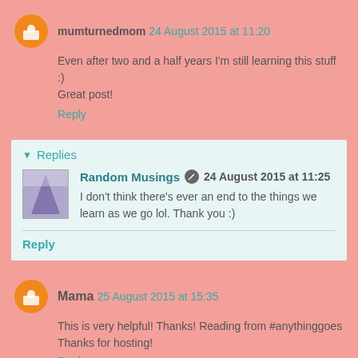mumturnedmom 24 August 2015 at 11:20 — Even after two and a half years I'm still learning this stuff :) Great post!
Reply
Replies
Random Musings 24 August 2015 at 11:25 — I don't think there's ever an end to the things we learn as we go lol. Thank you :)
Reply
Mama 25 August 2015 at 15:35 — This is very helpful! Thanks! Reading from #anythinggoes Thanks for hosting!
Reply